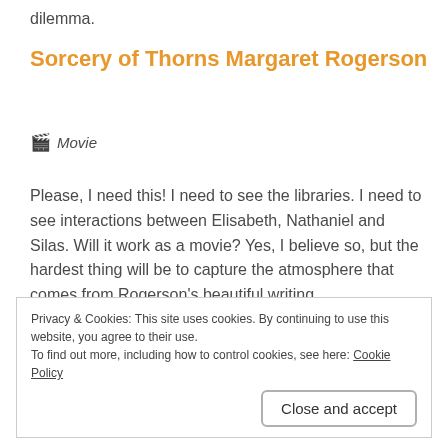dilemma.
Sorcery of Thorns Margaret Rogerson
🎬 Movie
Please, I need this! I need to see the libraries. I need to see interactions between Elisabeth, Nathaniel and Silas. Will it work as a movie? Yes, I believe so, but the hardest thing will be to capture the atmosphere that comes from Rogerson's beautiful writing.
Privacy & Cookies: This site uses cookies. By continuing to use this website, you agree to their use.
To find out more, including how to control cookies, see here: Cookie Policy
Close and accept